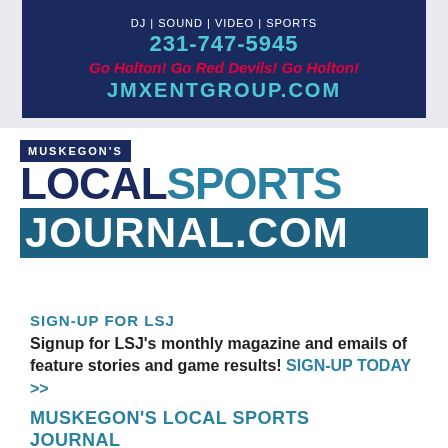[Figure (logo): JMX Entertainment Group ad banner on dark navy background with text: DJ | SOUND | VIDEO | SPORTS, phone number 231-747-5945, red slogan 'Go Holton! Go Red Devils! Go Holton!', and cyan URL JMXENTGROUP.COM]
[Figure (logo): Muskegon's Local Sports Journal logo. MUSKEGON'S in navy box, LOCAL in dark navy large bold text, SPORTS in teal large bold text, JOURNAL.COM in white on teal/dark bar]
SIGN-UP FOR LSJ
Signup for LSJ's monthly magazine and emails of feature stories and game results! SIGN-UP TODAY >>
MUSKEGON'S LOCAL SPORTS JOURNAL